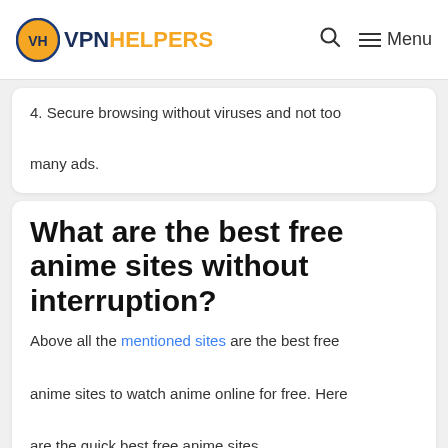VPN HELPERS — Q Menu
4. Secure browsing without viruses and not too many ads.
What are the best free anime sites without interruption?
Above all the mentioned sites are the best free anime sites to watch anime online for free. Here are the quick best free anime sites.
1. Crunchyroll